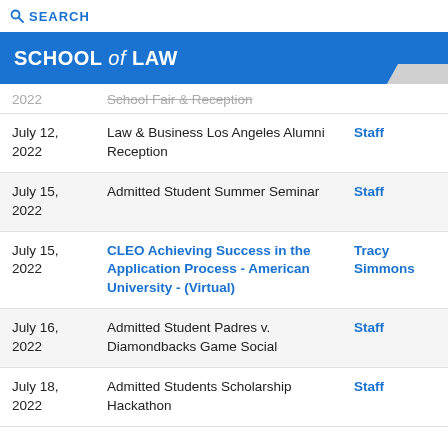SEARCH
SCHOOL of LAW
| Date | Event | Staff |
| --- | --- | --- |
| 2022 | School Fair & Reception |  |
| July 12, 2022 | Law & Business Los Angeles Alumni Reception | Staff |
| July 15, 2022 | Admitted Student Summer Seminar | Staff |
| July 15, 2022 | CLEO Achieving Success in the Application Process - American University - (Virtual) | Tracy Simmons |
| July 16, 2022 | Admitted Student Padres v. Diamondbacks Game Social | Staff |
| July 18, 2022 | Admitted Students Scholarship Hackathon | Staff |